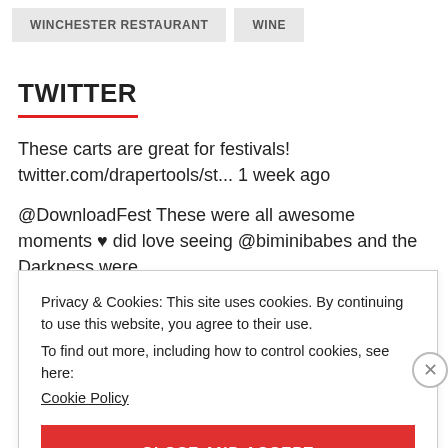WINCHESTER RESTAURANT
WINE
TWITTER
These carts are great for festivals! twitter.com/drapertools/st... 1 week ago
@DownloadFest These were all awesome moments ♥ did love seeing @biminibabes and the Darkness were
Privacy & Cookies: This site uses cookies. By continuing to use this website, you agree to their use.
To find out more, including how to control cookies, see here:
Cookie Policy
CLOSE AND ACCEPT